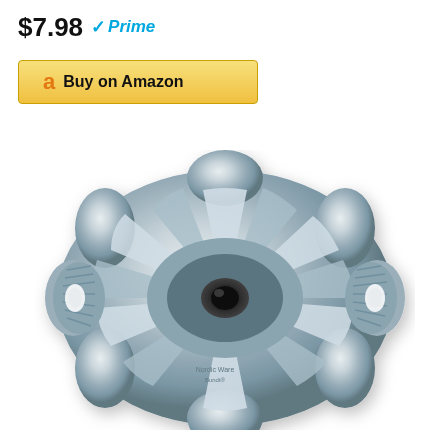$7.98 Prime
Buy on Amazon
[Figure (photo): Silver Nordic Ware Bundt cake pan viewed from above, showing fluted flower-like design with central hole and two side handles with rope-twist decoration]